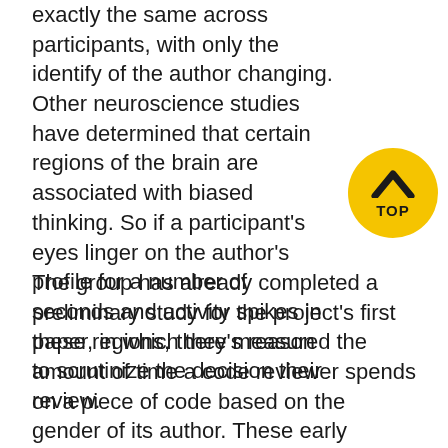exactly the same across participants, with only the identify of the author changing. Other neuroscience studies have determined that certain regions of the brain are associated with biased thinking. So if a participant's eyes linger on the author's profile for a number of seconds and activity spikes in these regions, there's reason to scrutinize the decision their review.
[Figure (other): Yellow circular button with an upward-pointing chevron arrow icon and the word TOP underneath, positioned in the lower right of the first paragraph block.]
The group has already completed a preliminary study for the project's first paper, in which they measured the amount of time a code reviewer spends on a piece of code based on the gender of its author. These early findings indicate that people spend less time reviewing the code when the author is a woman, though until they dig deeper with the fMRI they can't say conclusively if that's a